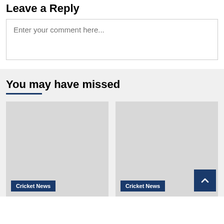Leave a Reply
Enter your comment here...
You may have missed
[Figure (photo): Placeholder image card with Cricket News label]
[Figure (photo): Placeholder image card with Cricket News label and scroll-to-top button]